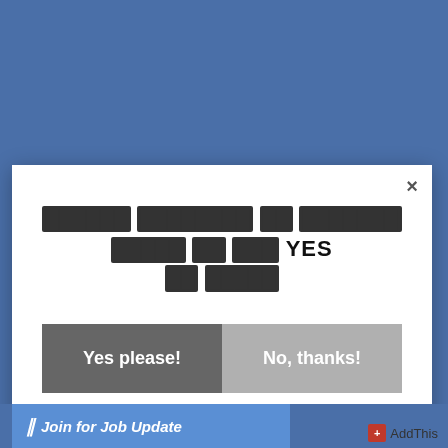[Figure (screenshot): Blue background webpage with a modal dialog overlay]
× (close button)
[redacted text] YES [redacted text]
Yes please!
No, thanks!
‖ Join for Job Update
AddThis